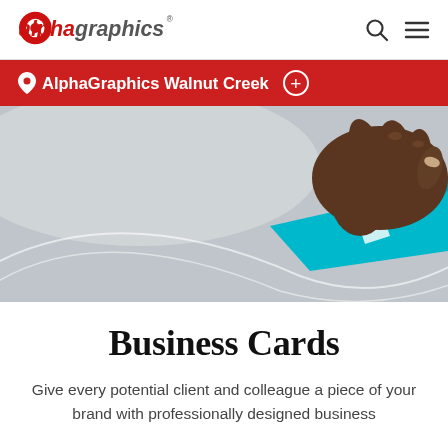alphagraphics
AlphaGraphics Walnut Creek
[Figure (photo): Close-up of a hand holding a teal/cyan business card against a light grey background with curved white graphic elements]
Business Cards
Give every potential client and colleague a piece of your brand with professionally designed business